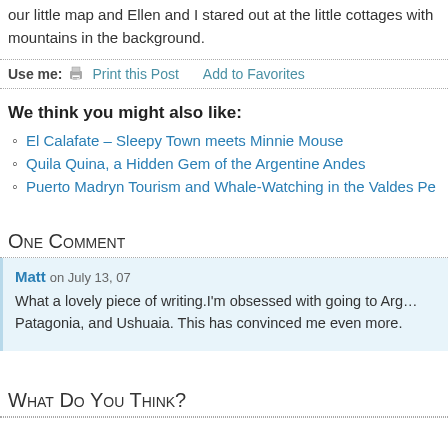our little map and Ellen and I stared out at the little cottages with mountains in the background.
Use me: Print this Post   Add to Favorites
We think you might also like:
El Calafate – Sleepy Town meets Minnie Mouse
Quila Quina, a Hidden Gem of the Argentine Andes
Puerto Madryn Tourism and Whale-Watching in the Valdes Pe…
One Comment
Matt on July 13, 07
What a lovely piece of writing.I'm obsessed with going to Arg… Patagonia, and Ushuaia. This has convinced me even more.
What Do You Think?